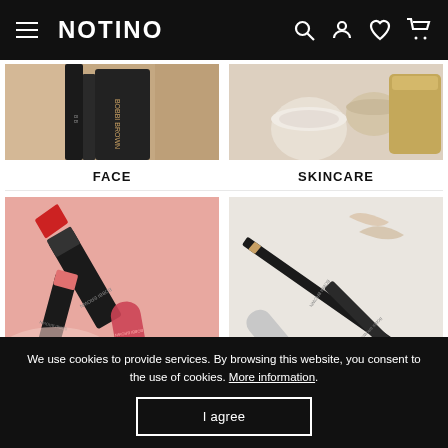NOTINO
[Figure (photo): Bobbi Brown face makeup products on beige background (partially cropped)]
FACE
[Figure (photo): Bobbi Brown skincare products on peach background (partially cropped)]
SKINCARE
[Figure (photo): Bobbi Brown lipstick and lip gloss products in red and pink tones]
LIPSTICK
[Figure (photo): Bobbi Brown eye pencil, brow pencil and mascara products on light background]
EYES & BROWS
We use cookies to provide services. By browsing this website, you consent to the use of cookies. More information.
I agree